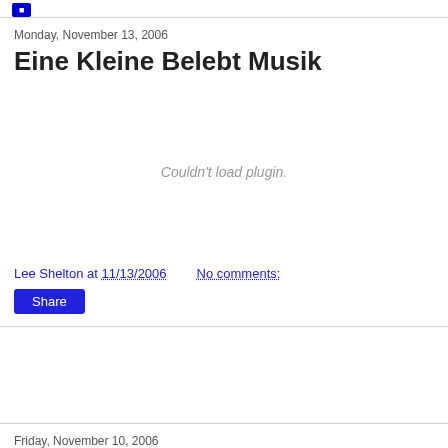Monday, November 13, 2006
Eine Kleine Belebt Musik
[Figure (other): Embedded plugin area showing 'Couldn't load plugin.' message]
Lee Shelton at 11/13/2006   No comments:
Share
Friday, November 10, 2006